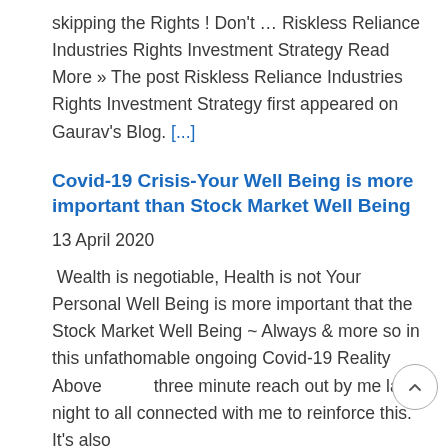skipping the Rights ! Don't … Riskless Reliance Industries Rights Investment Strategy Read More » The post Riskless Reliance Industries Rights Investment Strategy first appeared on Gaurav's Blog. [...]
Covid-19 Crisis-Your Well Being is more important than Stock Market Well Being
13 April 2020
Wealth is negotiable, Health is not Your Personal Well Being is more important that the Stock Market Well Being ~ Always & more so in this unfathomable ongoing Covid-19 Reality Above three minute reach out by me last night to all connected with me to reinforce this. It's also